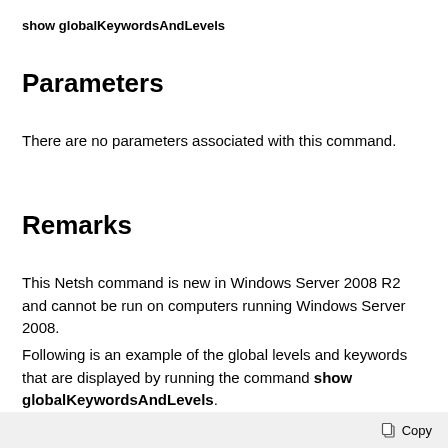show globalKeywordsAndLevels
Parameters
There are no parameters associated with this command.
Remarks
This Netsh command is new in Windows Server 2008 R2 and cannot be run on computers running Windows Server 2008.
Following is an example of the global levels and keywords that are displayed by running the command show globalKeywordsAndLevels.